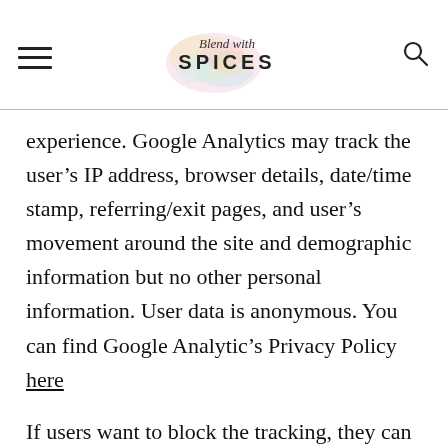Blend with SPICES
experience. Google Analytics may track the user’s IP address, browser details, date/time stamp, referring/exit pages, and user’s movement around the site and demographic information but no other personal information. User data is anonymous. You can find Google Analytic’s Privacy Policy here
If users want to block the tracking, they can block Google Analytics tracking using Google Analytics Opt-Out Browser Add...